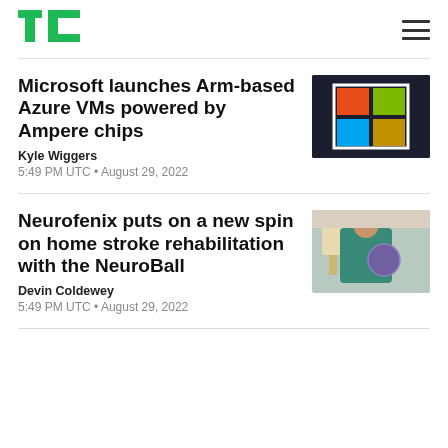TechCrunch
Microsoft launches Arm-based Azure VMs powered by Ampere chips
Kyle Wiggers
5:49 PM UTC • August 29, 2022
[Figure (photo): Microsoft logo — colorful four-square Windows logo on a dark glass surface]
Neurofenix puts on a new spin on home stroke rehabilitation with the NeuroBall
Devin Coldewey
5:49 PM UTC • August 29, 2022
[Figure (photo): Person in teal scrubs holding a round purple rehabilitation ball device indoors]